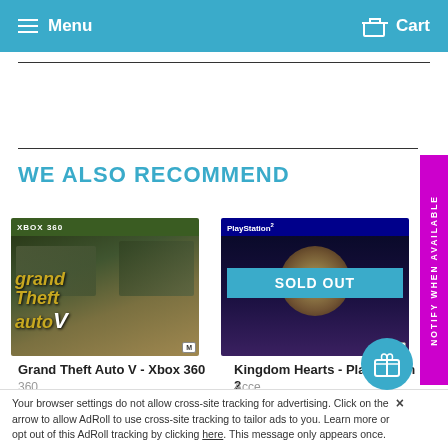Menu   Cart
WE ALSO RECOMMEND
[Figure (photo): Grand Theft Auto V Xbox 360 game box cover art]
[Figure (photo): Kingdom Hearts PlayStation 2 game box cover art with SOLD OUT badge]
Grand Theft Auto V - Xbox 360
Kingdom Hearts - Playstation 2
Your browser settings do not allow cross-site tracking for advertising. Click on the arrow to allow AdRoll to use cross-site tracking to tailor ads to you. Learn more or opt out of this AdRoll tracking by clicking here. This message only appears once.